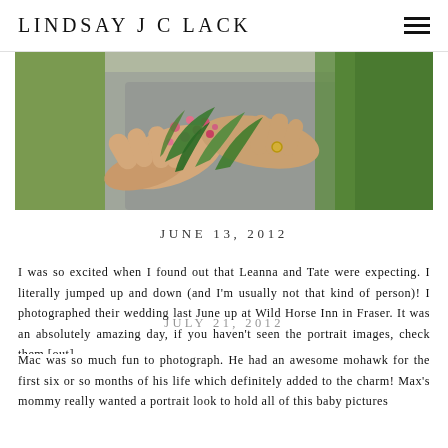LINDSAY J C LACK
[Figure (photo): Close-up photograph of hands holding pink flowers and green leaves, with a grey fabric background and green grass visible on the right]
JUNE 13, 2012
I was so excited when I found out that Leanna and Tate were expecting. I literally jumped up and down (and I'm usually not that kind of person)! I photographed their wedding last June up at Wild Horse Inn in Fraser. It was an absolutely amazing day, if you haven't seen the images, check them [out].
JULY 21, 2012 Mac was so much fun to photograph. He had an awesome mohawk for the first six or so months of his life which definitely added to the charm! Max's mommy really wanted a portrait look to hold all of this baby pictures